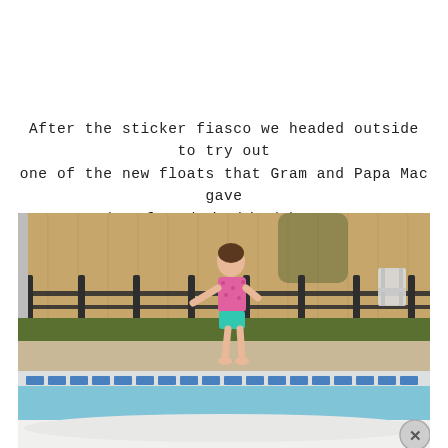After the sticker fiasco we headed outside to try out one of the new floats that Gram and Papa Mac gave them for their birthdays...
[Figure (photo): A toddler in a pink floral swimsuit and teal bottoms stands at the edge of a backyard swimming pool with blue tile trim. Behind her is a dark metal safety fence and a tall wooden privacy fence. A white folding chair is visible in the background on the right. The bottom portion of the image shows a white pool float in the water.]